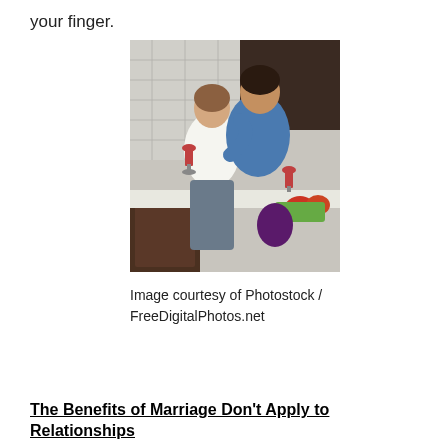your finger.
[Figure (photo): A couple in a kitchen. A woman in a white tank top holds a glass of red wine while a man in a blue shirt embraces her from behind, both laughing. Vegetables including tomatoes and lettuce are on the counter.]
Image courtesy of Photostock / FreeDigitalPhotos.net
The Benefits of Marriage Don't Apply to Relationships